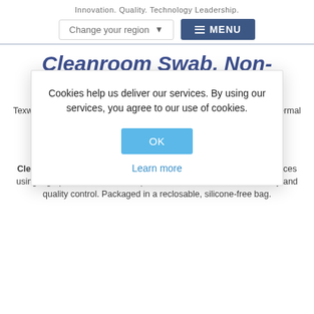Innovation. Quality. Technology Leadership.
[Figure (screenshot): Navigation bar with 'Change your region' dropdown and dark blue MENU button]
Cleanroom Swab, Non-Sterile
Texw... ab is constructed... reases its lifting... streak-free cle... thermal b... e
This s... nium chloride) cleaners and disinfectants.
Cleanroom manufactured, made to exacting and consistent tolerances using high-precision automated processes. Lot coded for traceability and quality control. Packaged in a reclosable, silicone-free bag.
[Figure (screenshot): Cookie consent modal dialog with OK button and Learn more link]